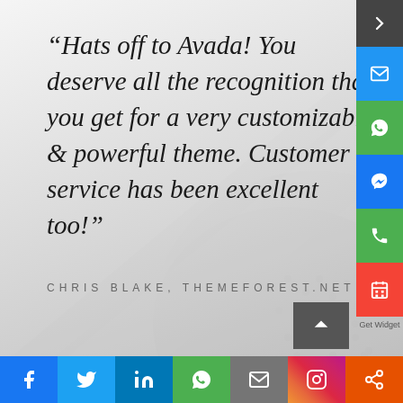“Hats off to Avada! You deserve all the recognition that you get for a very customizable & powerful theme. Customer service has been excellent too!”
CHRIS BLAKE, THEMEFOREST.NET
[Figure (illustration): Gold circle with large white quotation mark icon]
[Figure (infographic): Right sidebar with social/contact widget icons: arrow, email, WhatsApp, Messenger, phone, calendar. 'Get Widget' label below.]
[Figure (infographic): Bottom social sharing bar with icons: Facebook (blue), Twitter (light blue), LinkedIn (dark blue), WhatsApp (green), Email (gray), Instagram (gradient), Share (orange)]